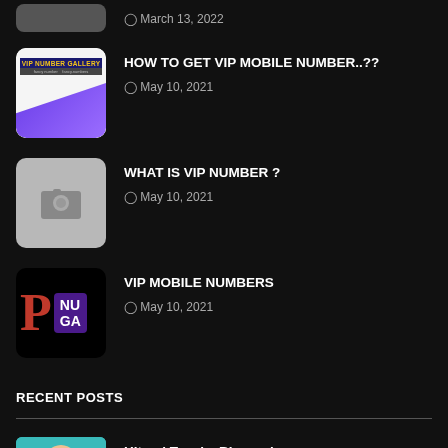March 13, 2022
[Figure (photo): VIP Number Gallery app icon with purple diamond design]
HOW TO GET VIP MOBILE NUMBER..??
May 10, 2021
[Figure (photo): Placeholder camera icon on grey background]
WHAT IS VIP NUMBER ?
May 10, 2021
[Figure (photo): Letter P and NU GA block on black background]
VIP MOBILE NUMBERS
May 10, 2021
RECENT POSTS
[Figure (photo): Hitomi Tanaka photo in teal dress]
Hitomi Tanaka Biography: Height, Weight, Age, Affair, Family, Wiki
March 13, 2022